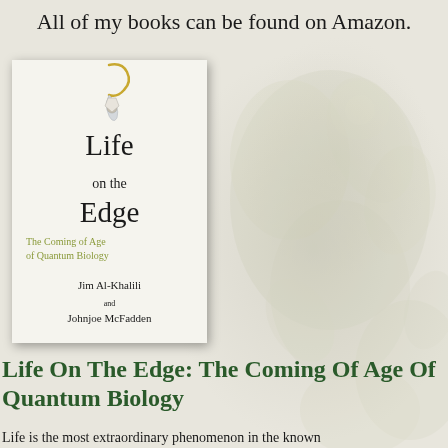All of my books can be found on Amazon.
[Figure (illustration): Book cover of 'Life on the Edge: The Coming of Age of Quantum Biology' by Jim Al-Khalili and Johnjoe McFadden, with an earring/hook image at the top, shown against a floral watermark background.]
Life On The Edge: The Coming Of Age Of Quantum Biology
Life is the most extraordinary phenomenon in the known